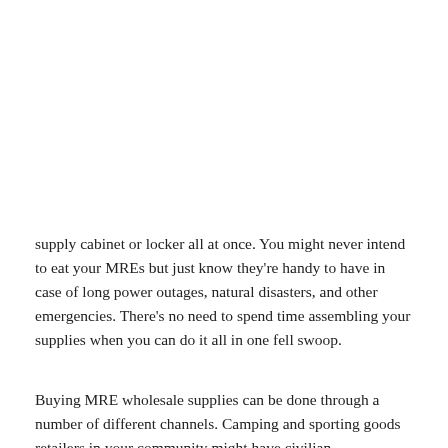supply cabinet or locker all at once. You might never intend to eat your MREs but just know they're handy to have in case of long power outages, natural disasters, and other emergencies. There's no need to spend time assembling your supplies when you can do it all in one fell swoop.
Buying MRE wholesale supplies can be done through a number of different channels. Camping and sporting goods retailers in your community might have civilian-